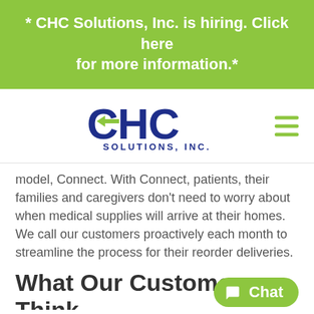* CHC Solutions, Inc. is hiring. Click here for more information.*
[Figure (logo): CHC Solutions, Inc. logo — dark blue bold letters 'CHC' with an arrow through the C, and 'SOLUTIONS, INC.' below in spaced uppercase letters]
model, Connect. With Connect, patients, their families and caregivers don't need to worry about when medical supplies will arrive at their homes. We call our customers proactively each month to streamline the process for their reorder deliveries.
What Our Customers Think